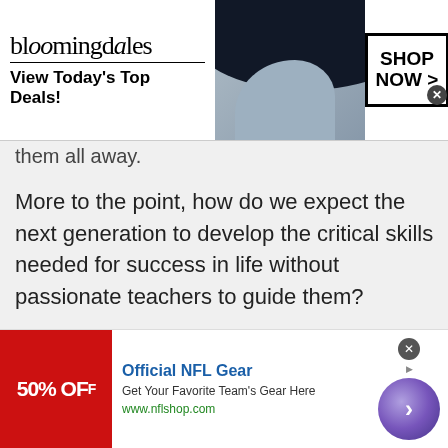[Figure (other): Bloomingdales advertisement banner: logo, tagline 'View Today's Top Deals!', model with hat, SHOP NOW button]
them all away.
More to the point, how do we expect the next generation to develop the critical skills needed for success in life without passionate teachers to guide them?
[Figure (photo): Recipe Of The Day promotional image showing tortilla chips and a bowl of strawberry salsa]
[Figure (other): Official NFL Gear advertisement: 50% OFF, Get Your Favorite Team's Gear Here, www.nflshop.com, with purple arrow circle button]